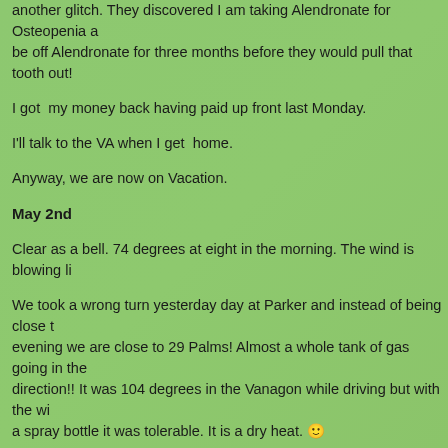another glitch.  They discovered I am taking Alendronate for Osteopenia and I would need to be off Alendronate for three months before they would pull that tooth out!
I got  my money back having paid up front last Monday.
I'll talk to the VA when I get  home.
Anyway, we are now on Vacation.
May 2nd
Clear as a bell.  74 degrees at eight in the morning.  The wind is blowing li
We took a wrong turn yesterday day at Parker and instead of being close t evening we are close to 29 Palms!  Almost a whole tank of gas going in the direction!!  It was 104 degrees in the Vanagon while driving but with the wi a spray bottle it was tolerable.  It is a dry heat. 🙂
Now  we are back on track and are at the Crowbar Cafe in Shoshone, Ca. destination yesterday.
Currently 95 degrees and windy but it is a dry heat.  There was a motorcyc for lunch and liquids at the Crowbar Cafe but they were mostly in the bar p